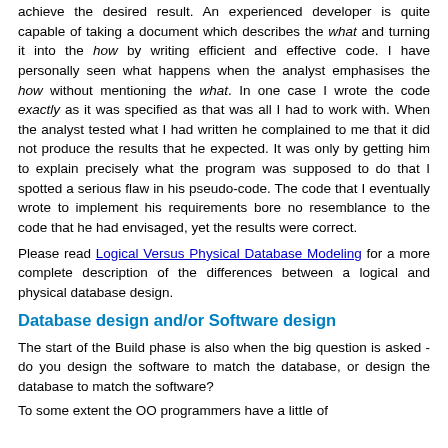achieve the desired result. An experienced developer is quite capable of taking a document which describes the what and turning it into the how by writing efficient and effective code. I have personally seen what happens when the analyst emphasises the how without mentioning the what. In one case I wrote the code exactly as it was specified as that was all I had to work with. When the analyst tested what I had written he complained to me that it did not produce the results that he expected. It was only by getting him to explain precisely what the program was supposed to do that I spotted a serious flaw in his pseudo-code. The code that I eventually wrote to implement his requirements bore no resemblance to the code that he had envisaged, yet the results were correct.
Please read Logical Versus Physical Database Modeling for a more complete description of the differences between a logical and physical database design.
Database design and/or Software design
The start of the Build phase is also when the big question is asked - do you design the software to match the database, or design the database to match the software?
To some extent the OO programmers have a little of...